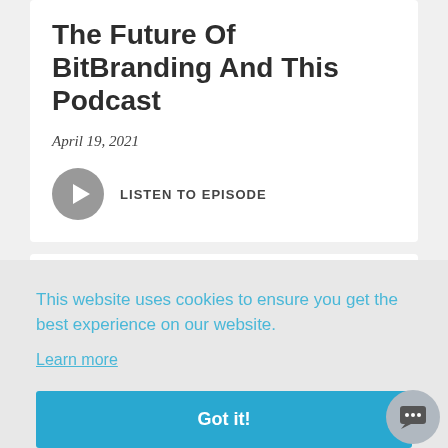The Future Of BitBranding And This Podcast
April 19, 2021
LISTEN TO EPISODE
Episode #199
This website uses cookies to ensure you get the best experience on our website.
Learn more
Got it!